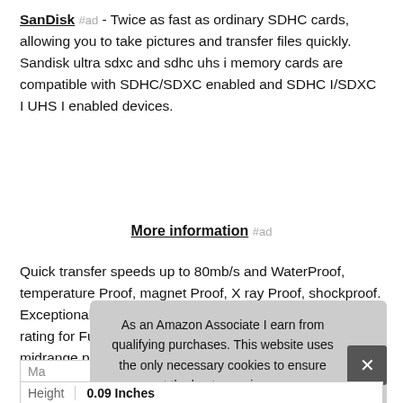SanDisk #ad - Twice as fast as ordinary SDHC cards, allowing you to take pictures and transfer files quickly. Sandisk ultra sdxc and sdhc uhs i memory cards are compatible with SDHC/SDXC enabled and SDHC I/SDXC I UHS I enabled devices.
More information #ad
Quick transfer speeds up to 80mb/s and WaterProof, temperature Proof, magnet Proof, X ray Proof, shockproof. Exceptional video recording performance with Class 10 rating for Full HD video 1080p. Great for compact to midrange point and shoot digital cameras and camcorders.
As an Amazon Associate I earn from qualifying purchases. This website uses the only necessary cookies to ensure you get the best experience on our website. More information
| Ma |  |
| Height | 0.09 Inches |